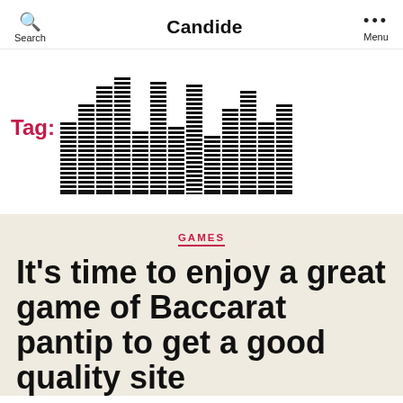Candide
[Figure (other): Tag: label with a stylized equalizer/histogram bar chart graphic made of horizontal black stripes forming columns of varying heights]
GAMES
It’s time to enjoy a great game of Baccarat pantip to get a good quality site